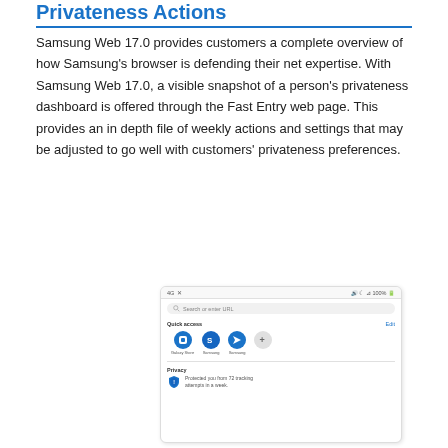Privateness Actions
Samsung Web 17.0 provides customers a complete overview of how Samsung's browser is defending their net expertise. With Samsung Web 17.0, a visible snapshot of a person's privateness dashboard is offered through the Fast Entry web page. This provides an in depth file of weekly actions and settings that may be adjusted to go well with customers' privateness preferences.
[Figure (screenshot): Screenshot of Samsung Internet browser's new tab / Fast Entry page on a mobile device, showing a search bar, Quick Access icons (Galaxy Store, Samsung, Samsung), and a Privacy section with a shield icon indicating tracking protection.]